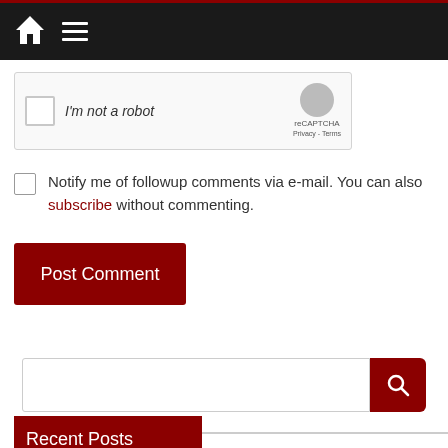Navigation bar with home and menu icons
[Figure (screenshot): reCAPTCHA widget showing checkbox 'I'm not a robot' with reCAPTCHA logo, Privacy and Terms links]
Notify me of followup comments via e-mail. You can also subscribe without commenting.
Post Comment
[Figure (screenshot): Search bar with text input field and dark red search button with magnifier icon]
Recent Posts
PHOTOS: Edge Tween Club on the Disney Wish